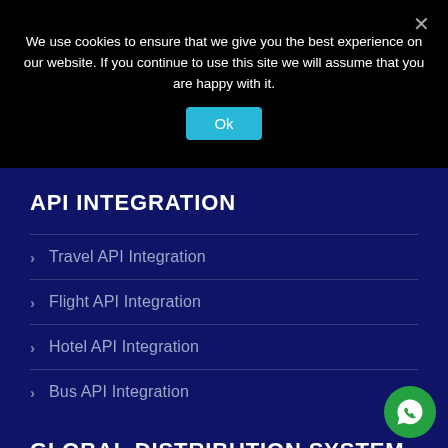We use cookies to ensure that we give you the best experience on our website. If you continue to use this site we will assume that you are happy with it.
Travel API Integration
Flight API Integration
Hotel API Integration
Bus API Integration
API INTEGRATION
GLOBAL DISTRIBUTION SYSTEM